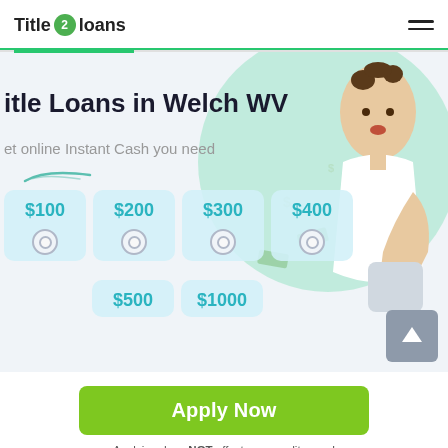Title 2 Loans
Title Loans in Welch WV
Get online Instant Cash you need
[Figure (screenshot): Loan amount selector with cards showing $100, $200, $300, $400, $500, $1000 with radio buttons and a woman holding money in the background]
Apply Now
Applying does NOT affect your credit score! No credit check to apply.